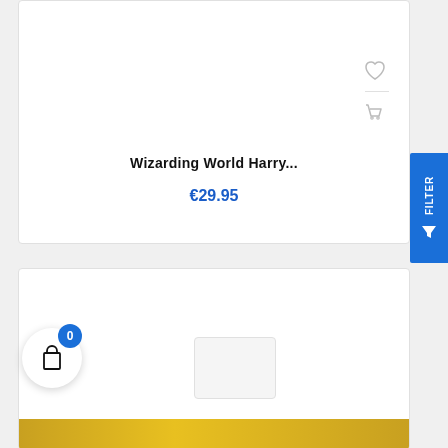[Figure (screenshot): E-commerce product listing page showing two product cards with a blue FILTER button on the right side. Top card shows product title 'Wizarding World Harry...' priced at €29.95 with heart and cart icons. Bottom card shows another product with a shopping bag icon and badge showing 0 items.]
Wizarding World Harry...
€29.95